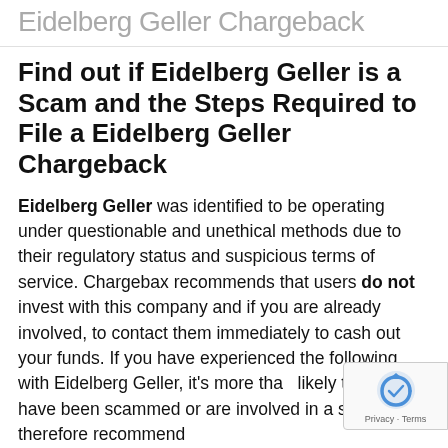Eidelberg Geller Chargeback
Find out if Eidelberg Geller is a Scam and the Steps Required to File a Eidelberg Geller Chargeback
Eidelberg Geller was identified to be operating under questionable and unethical methods due to their regulatory status and suspicious terms of service. Chargebax recommends that users do not invest with this company and if you are already involved, to contact them immediately to cash out your funds. If you have experienced the following with Eidelberg Geller, it's more than likely that you have been scammed or are involved in a scam. We therefore recommend